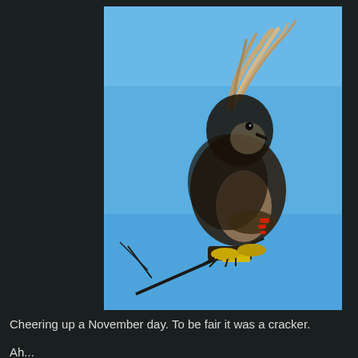[Figure (photo): A cedar waxwing bird perched on a bare twig tip, photographed from below against a vivid blue sky. The bird's crest feathers are windblown upward, and its yellow-tipped tail and red wing markings are visible. The bird is facing left, mostly in shadow with bright blue sky background.]
Cheering up a November day. To be fair it was a cracker.
Ah...